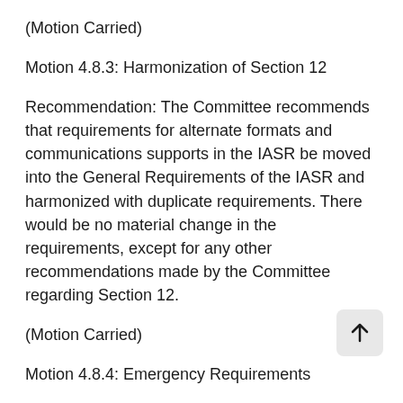(Motion Carried)
Motion 4.8.3: Harmonization of Section 12
Recommendation: The Committee recommends that requirements for alternate formats and communications supports in the IASR be moved into the General Requirements of the IASR and harmonized with duplicate requirements. There would be no material change in the requirements, except for any other recommendations made by the Committee regarding Section 12.
(Motion Carried)
Motion 4.8.4: Emergency Requirements
Recommendation: The Committee recommends that